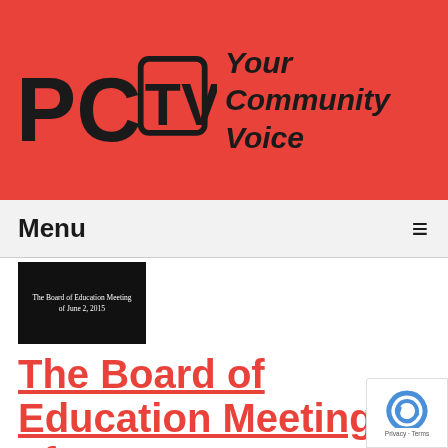[Figure (logo): PCTV logo with 'Your Community Voice' tagline on red banner background]
Menu ≡
[Figure (screenshot): Thumbnail image of 'The Board of Education Meeting of June 2, 2015' with white text on black background]
The Board of Education Meeting of 06-02-15
Airdate: 06/02/2015
Watched: 44 times